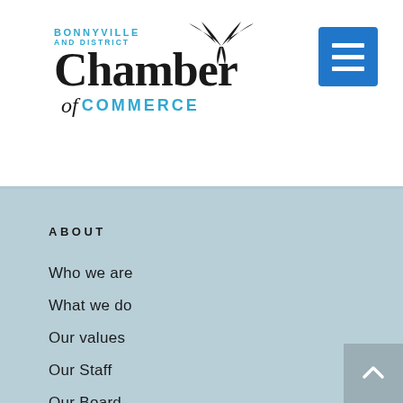[Figure (logo): Bonnyville and District Chamber of Commerce logo with bird silhouette]
[Figure (other): Hamburger menu button (three horizontal lines) in blue square]
ABOUT
Who we are
What we do
Our values
Our Staff
Our Board
Chamber History
MEMBERSHIP
[Figure (other): Scroll to top button with upward chevron arrow on grey background]